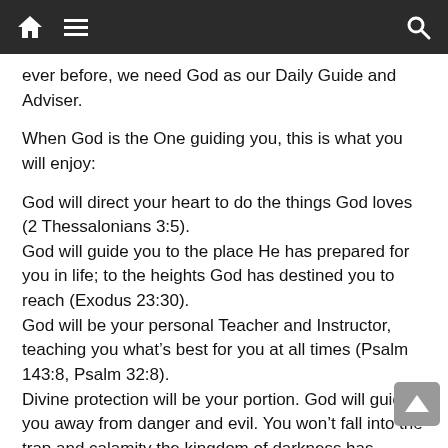Navigation bar with home, menu, and search icons
ever before, we need God as our Daily Guide and Adviser.
When God is the One guiding you, this is what you will enjoy:
God will direct your heart to do the things God loves (2 Thessalonians 3:5).
God will guide you to the place He has prepared for you in life; to the heights God has destined you to reach (Exodus 23:30).
God will be your personal Teacher and Instructor, teaching you what’s best for you at all times (Psalm 143:8, Psalm 32:8).
Divine protection will be your portion. God will guide you away from danger and evil. You won’t fall into the trap and calamity the kingdom of darkness has prepared for you (Exodus 13:21, Numbers 10:31, Psalm 121:7-8).